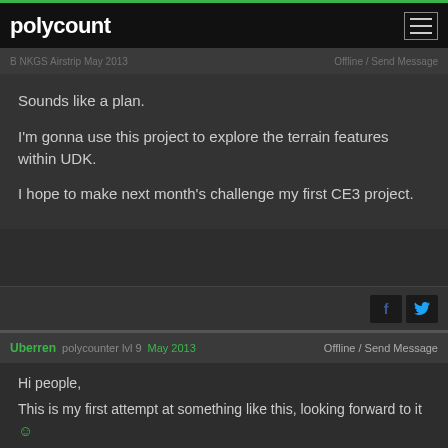polycount
B NKGS Airstrip May 2013 | Offline / Send Message
Sounds like a plan.
I'm gonna use this project to explore the terrain features within UDK.
I hope to make next month's challenge my first CE3 project.
Uberren  polycounter lvl 9  May 2013  Offline / Send Message
Hi people,
This is my first attempt at something like this, looking forward to it :)

Here's my breakdown: